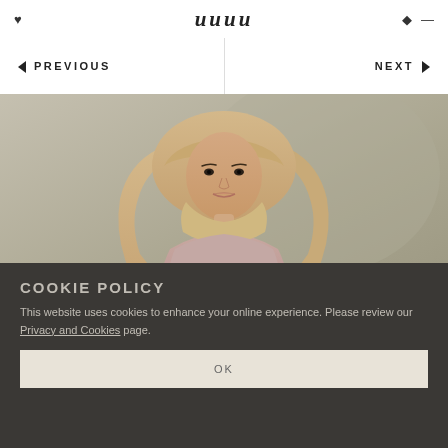logo (stylized cursive script)
◄ PREVIOUS    NEXT ►
[Figure (photo): A woman wearing a beige/tan hijab and a light pink top, photographed against a neutral grey-green background. She is looking at the camera in a fashion/product photo style.]
COOKIE POLICY
This website uses cookies to enhance your online experience. Please review our Privacy and Cookies page.
OK